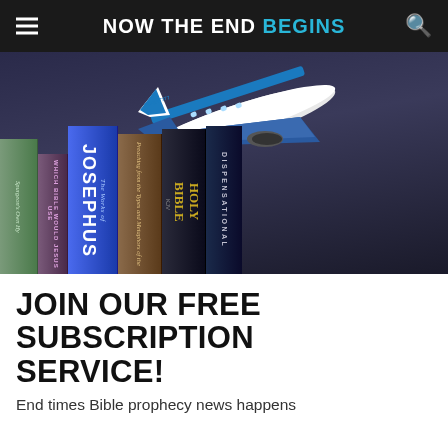NOW THE END BEGINS
[Figure (illustration): Promotional banner image showing a blue and white airplane flying above a row of religious books including The Works of Josephus, Holy Bible, and other Christian titles, against a dark background.]
JOIN OUR FREE SUBSCRIPTION SERVICE!
End times Bible prophecy news happens